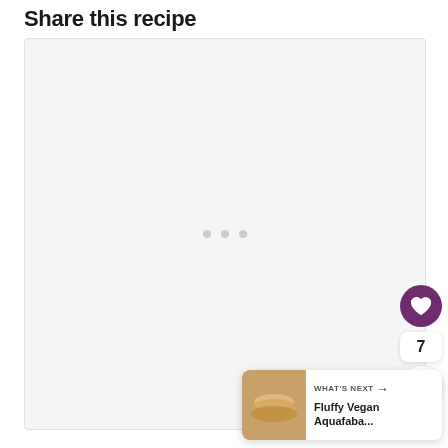Share this recipe
[Figure (photo): Large light gray placeholder image area with three small dots in center, representing a loading or empty recipe share image.]
[Figure (infographic): UI overlay elements: a purple heart/like button circle, a number 7 count box, a share icon circle button, and a 'What's Next' card with thumbnail showing pancakes and text 'Fluffy Vegan Aquafaba...']